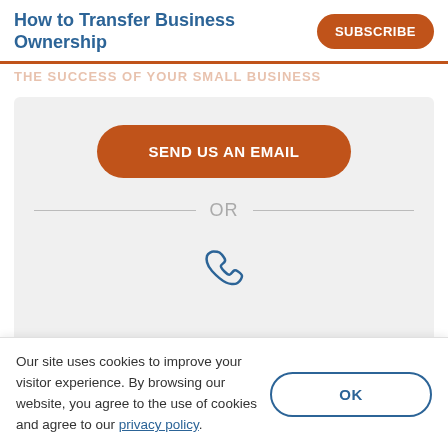How to Transfer Business Ownership
SUBSCRIBE
The success of your small business
[Figure (infographic): Contact section with orange 'SEND US AN EMAIL' button, an OR divider with lines, and a blue phone icon below]
Our site uses cookies to improve your visitor experience. By browsing our website, you agree to the use of cookies and agree to our privacy policy.